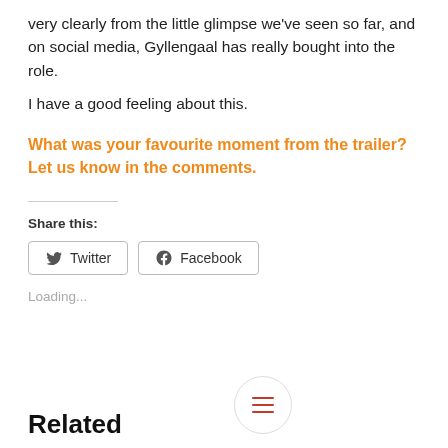very clearly from the little glimpse we've seen so far, and on social media, Gyllengaal has really bought into the role.
I have a good feeling about this.
What was your favourite moment from the trailer? Let us know in the comments.
Share this:
Twitter   Facebook
Loading...
Related